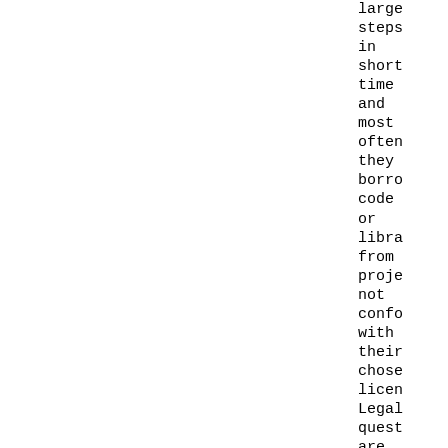large
steps
in
short
time
and
most
often
they
borro
code
or
libra
from
proje
not
confo
with
their
chose
licen
Legal
quest
are
taken
very
light
for
a
few